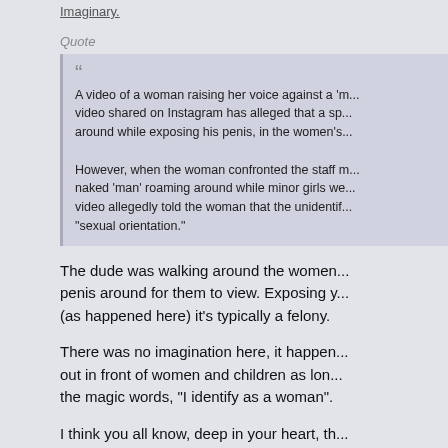Imaginary.
Quote
A video of a woman raising her voice against a 'm... video shared on Instagram has alleged that a sp... around while exposing his penis, in the women's...

However, when the woman confronted the staff m... naked 'man' roaming around while minor girls we... video allegedly told the woman that the unidentif... "sexual orientation."
The dude was walking around the women... penis around for them to view. Exposing y... (as happened here) it's typically a felony.
There was no imagination here, it happen... out in front of women and children as lon... the magic words, "I identify as a woman".
I think you all know, deep in your heart, th... scared, in fact, that you'll sign off on the s... appearance of intolerance. Men forcing w... something we should normalize.